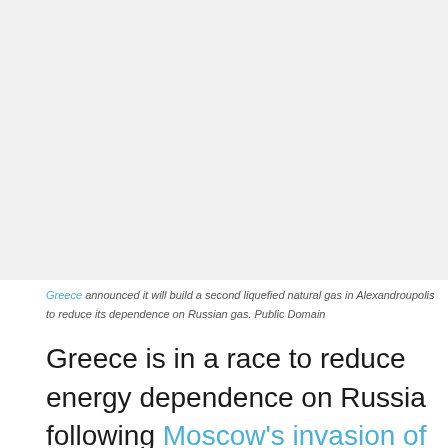[Figure (photo): Photo of Alexandroupolis port or LNG facility — top portion of image visible, mostly white/light area]
Greece announced it will build a second liquefied natural gas in Alexandroupolis to reduce its dependence on Russian gas. Public Domain
Greece is in a race to reduce energy dependence on Russia following Moscow's invasion of Ukraine, Prime Minister Kyriakos Mitsotakis said on Tuesday.